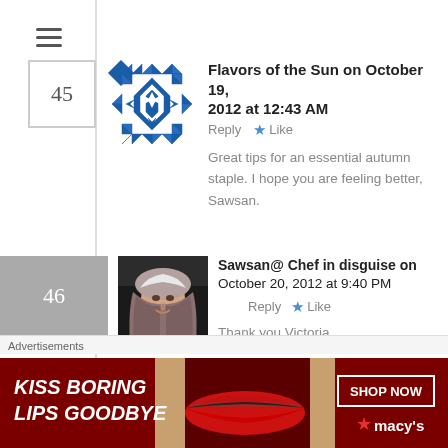[Figure (screenshot): Hamburger menu icon (three horizontal lines)]
45
[Figure (illustration): Blue geometric quilt/snowflake pattern avatar for Flavors of the Sun]
Flavors of the Sun on October 19, 2012 at 12:43 AM   Reply ★ Like
Great tips for an essential autumn staple. I hope you are feeling better, Sawsan.
46
[Figure (photo): Photo of Sawsan wearing a hijab, smiling]
Sawsan@ Chef in disguise on October 20, 2012 at 9:40 PM   Reply ★ Like
Thank you Victoria
Advertisements
[Figure (photo): Macy's advertisement: KISS BORING LIPS GOODBYE with red lips photo, SHOP NOW button and Macy's star logo]